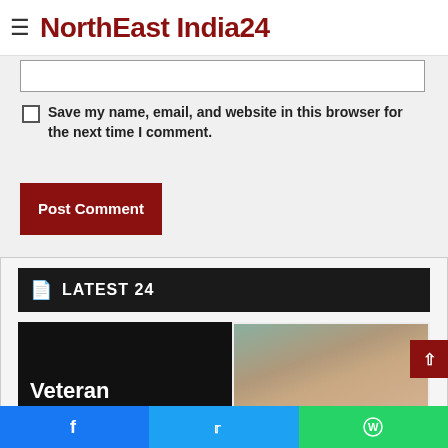NorthEast India24
Save my name, email, and website in this browser for the next time I comment.
Post Comment
LATEST 24
Veteran
[Figure (photo): Person photo in article block]
Social share bar with Facebook, Twitter, WhatsApp icons